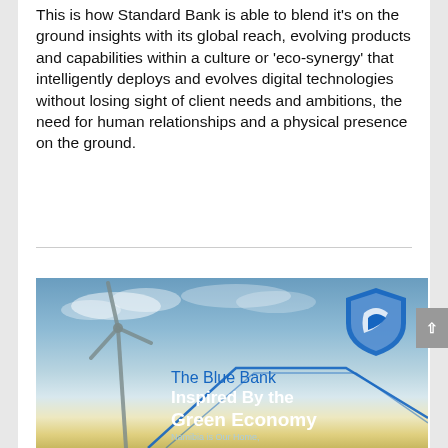This is how Standard Bank is able to blend it's on the ground insights with its global reach, evolving products and capabilities within a culture or 'eco-synergy' that intelligently deploys and evolves digital technologies without losing sight of client needs and ambitions, the need for human relationships and a physical presence on the ground.
[Figure (illustration): Standard Bank advertisement showing a wind turbine against a sky background with the Standard Bank shield logo in the top right, blue geometric lines, and text reading 'The Blue Bank Inspired By the Green Economy' and 'Namibia is Our Home.']